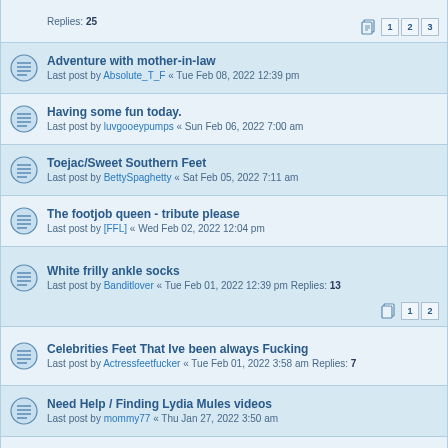Replies: 25 [pages 1 2 3]
Adventure with mother-in-law
Last post by Absolute_T_F « Tue Feb 08, 2022 12:39 pm
Having some fun today.
Last post by luvgooeypumps « Sun Feb 06, 2022 7:00 am
Toejac/Sweet Southern Feet
Last post by BettySpaghetty « Sat Feb 05, 2022 7:11 am
The footjob queen - tribute please
Last post by [FFL] « Wed Feb 02, 2022 12:04 pm
White frilly ankle socks
Last post by Banditlover « Tue Feb 01, 2022 12:39 pm
Replies: 13 [pages 1 2]
Celebrities Feet That Ive been always Fucking
Last post by Actressfeetfucker « Tue Feb 01, 2022 3:58 am
Replies: 7
Need Help / Finding Lydia Mules videos
Last post by mommy77 « Thu Jan 27, 2022 3:50 am
Where have all the Socks gone?
Last post by footguy1971 « Fri Jan 21, 2022 6:07 am
Replies: 1
Mom's socks
Last post by footguy1971 « Wed Jan 19, 2022 6:35 am
Replies: 20 [pages 1 2 3]